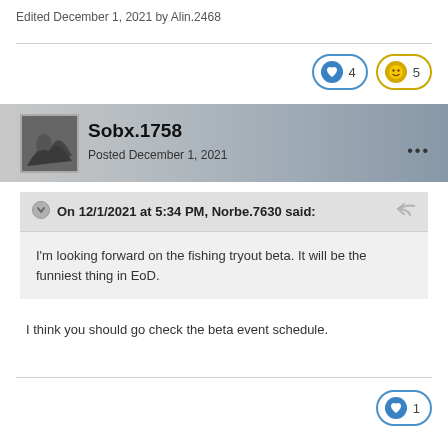Edited December 1, 2021 by Alin.2468
4  5
Sobx.1758
Posted December 1, 2021
On 12/1/2021 at 5:34 PM, Norbe.7630 said:
I'm looking forward on the fishing tryout beta. It will be the funniest thing in EoD.
I think you should go check the beta event schedule.
1